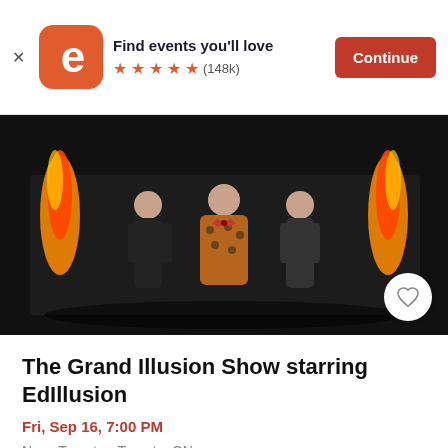Find events you'll love ★★★★★ (148k) Continue
[Figure (photo): A performer in a leopard-print blazer and red bow tie stands center stage flanked by two female assistants in black outfits, with fire and metallic backdrops on either side.]
The Grand Illusion Show starring EdIllusion
Fri, Sep 16, 7:00 PM
Nuvo Toronto • Toronto, ON
$42.39 - $492.62